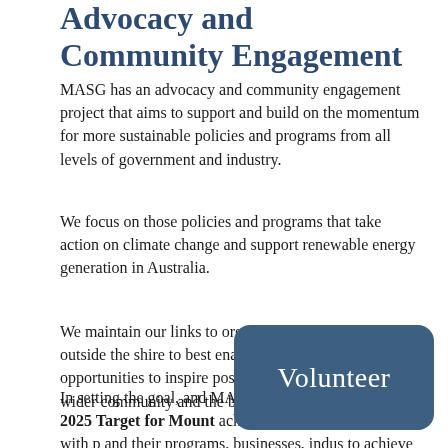Advocacy and Community Engagement
MASG has an advocacy and community engagement project that aims to support and build on the momentum for more sustainable policies and programs from all levels of government and industry.
We focus on those policies and programs that take action on climate change and support renewable energy generation in Australia.
We maintain our links to organisations within and outside the shire to best enable us to respond to opportunities to inspire positive change in the local and wider community and the body politic.
In setting the goal, and MASG mission Zero Emissions by 2025 Target for Mount Alexander acknowledge the need to work with people and their programs, businesses, industry and government to achieve this.
[Figure (other): A dark blue rounded rectangle button with the text 'Volunteer' in white.]